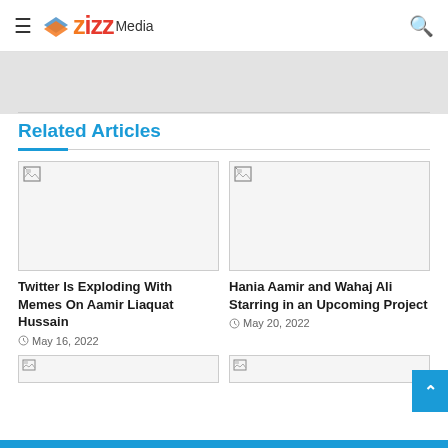zizz Media
Related Articles
[Figure (photo): Article thumbnail image placeholder (broken image icon), left card - Twitter memes article]
Twitter Is Exploding With Memes On Aamir Liaquat Hussain
May 16, 2022
[Figure (photo): Article thumbnail image placeholder (broken image icon), right card - Hania Aamir article]
Hania Aamir and Wahaj Ali Starring in an Upcoming Project
May 20, 2022
[Figure (photo): Article thumbnail image placeholder (broken image icon), bottom left card]
[Figure (photo): Article thumbnail image placeholder (broken image icon), bottom right card]